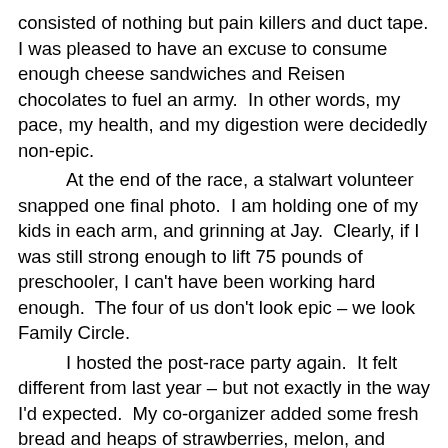consisted of nothing but pain killers and duct tape. I was pleased to have an excuse to consume enough cheese sandwiches and Reisen chocolates to fuel an army.  In other words, my pace, my health, and my digestion were decidedly non-epic.
	At the end of the race, a stalwart volunteer snapped one final photo.  I am holding one of my kids in each arm, and grinning at Jay.  Clearly, if I was still strong enough to lift 75 pounds of preschooler, I can't have been working hard enough.  The four of us don't look epic – we look Family Circle.
	I hosted the post-race party again.  It felt different from last year – but not exactly in the way I'd expected.  My co-organizer added some fresh bread and heaps of strawberries, melon, and pineapple, to the menu, and everyone was even kinder in their thanks.  I still felt dumpy compared to most of the crowd, but I cared less.  Last year, I was looking forward to this year's race because I was jealous of all the epic-ness around me.  This year, I realized to my own surprise, I was looking forward to next year's race for a whole list of reasons.
	Wilderness inspires me.  Exercise invigorates me.  I